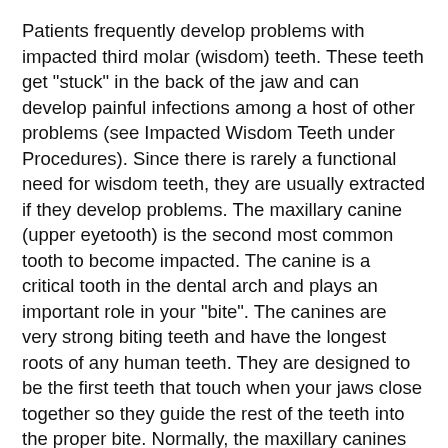Patients frequently develop problems with impacted third molar (wisdom) teeth. These teeth get "stuck" in the back of the jaw and can develop painful infections among a host of other problems (see Impacted Wisdom Teeth under Procedures). Since there is rarely a functional need for wisdom teeth, they are usually extracted if they develop problems. The maxillary canine (upper eyetooth) is the second most common tooth to become impacted. The canine is a critical tooth in the dental arch and plays an important role in your “bite”. The canines are very strong biting teeth and have the longest roots of any human teeth. They are designed to be the first teeth that touch when your jaws close together so they guide the rest of the teeth into the proper bite. Normally, the maxillary canines are the last of the “front” teeth to erupt into place.
They usually come into place around age 12 and cause any space left between the upper front teeth to close tighter together. If a canine gets impacted, every effort is made to get it to erupt into its proper position in the dental arch. The techniques involved to aid eruption can be applied to any impacted tooth in the upper or lower jaw, but most commonly they are applied to the maxillary canine (upper eye) teeth. Sixty percent of these impacted eyeteeth are